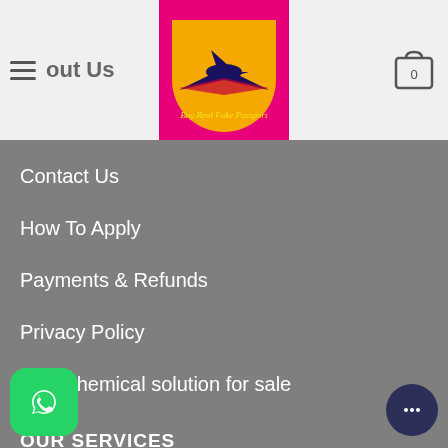About Us
[Figure (logo): Buy Real Fake Passport logo: airplane over orange sun on magenta background with yellow cursive text]
Contact Us
How To Apply
Payments & Refunds
Privacy Policy
SSD chemical solution for sale
OUR SERVICES
…cates for sale
…erfeit bills for sale